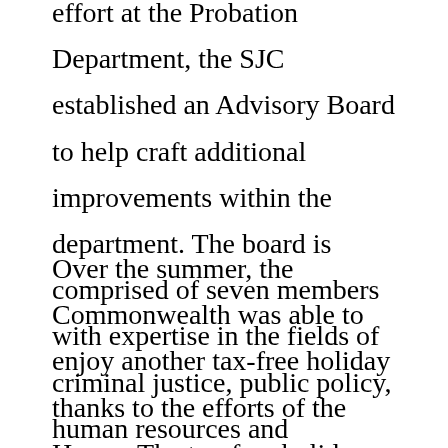effort at the Probation Department, the SJC established an Advisory Board to help craft additional improvements within the department. The board is comprised of seven members with expertise in the fields of criminal justice, public policy, human resources and management.
Over the summer, the Commonwealth was able to enjoy another tax-free holiday thanks to the efforts of the House. The tax-free holiday bill established a tax-free weekend on